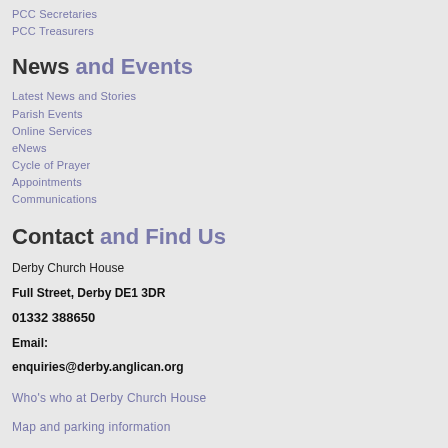PCC Secretaries
PCC Treasurers
News and Events
Latest News and Stories
Parish Events
Online Services
eNews
Cycle of Prayer
Appointments
Communications
Contact and Find Us
Derby Church House
Full Street, Derby DE1 3DR
01332 388650
Email:
enquiries@derby.anglican.org
Who's who at Derby Church House
Map and parking information